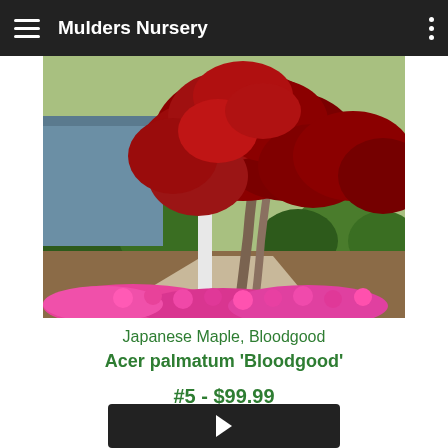Mulders Nursery
[Figure (photo): Japanese Maple Bloodgood tree with deep red foliage, white fence post, pink flowers (azaleas) in foreground, green shrubs in background, garden setting]
Japanese Maple, Bloodgood
Acer palmatum 'Bloodgood'
#5 - $99.99